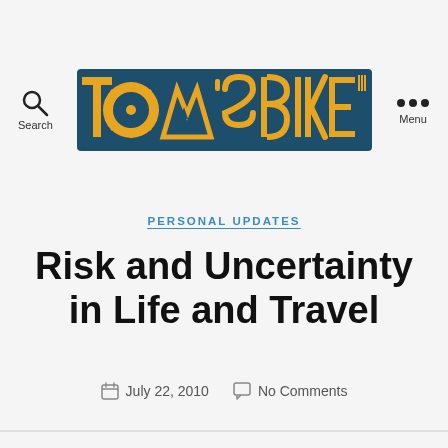TOM'S BIKE TRIP — Search | Menu
PERSONAL UPDATES
Risk and Uncertainty in Life and Travel
July 22, 2010   No Comments
Andy has written an excellent and thought-provoking article on the value of risk-taking. He's returned to live